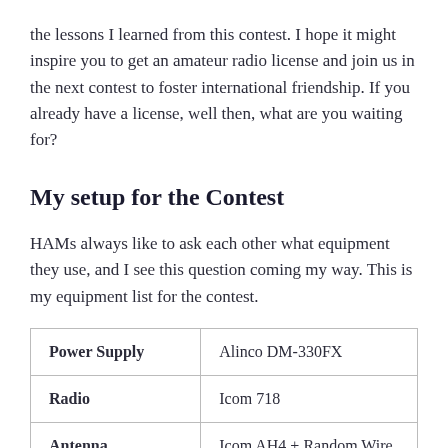the lessons I learned from this contest. I hope it might inspire you to get an amateur radio license and join us in the next contest to foster international friendship. If you already have a license, well then, what are you waiting for?
My setup for the Contest
HAMs always like to ask each other what equipment they use, and I see this question coming my way. This is my equipment list for the contest.
| Power Supply | Alinco DM-330FX |
| --- | --- |
| Radio | Icom 718 |
| Antenna | Icom AH4 + Random Wire |